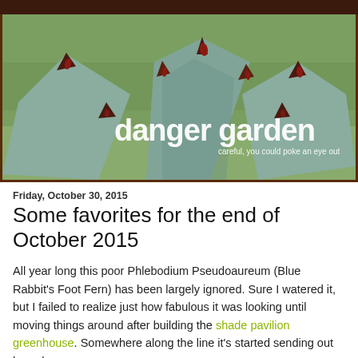[Figure (photo): Close-up photo of a spiky succulent plant (agave) with dark reddish-brown thorns against a green blurred background, with 'danger garden' blog logo overlaid in white text and subtitle 'careful, you could poke an eye out']
Friday, October 30, 2015
Some favorites for the end of October 2015
All year long this poor Phlebodium Pseudoaureum (Blue Rabbit's Foot Fern) has been largely ignored. Sure I watered it, but I failed to realize just how fabulous it was looking until moving things around after building the shade pavilion greenhouse. Somewhere along the line it's started sending out huge leaves...